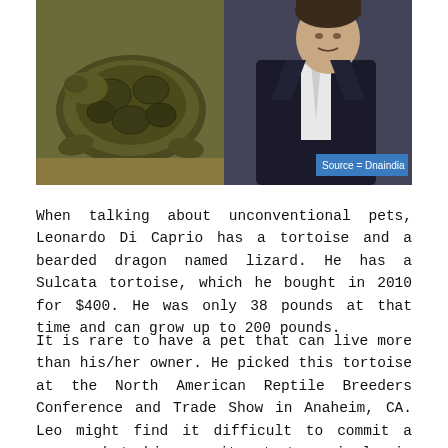[Figure (photo): Left half: close-up photo of a tortoise (Sulcata tortoise) with textured shell and scales. Right half: photo of a man in a dark suit (Leonardo Di Caprio). Source label 'Source = Dnaindia' in blue box at bottom right.]
When talking about unconventional pets, Leonardo Di Caprio has a tortoise and a bearded dragon named lizard. He has a Sulcata tortoise, which he bought in 2010 for $400. He was only 38 pounds at that time and can grow up to 200 pounds.
It is rare to have a pet that can live more than his/her owner. He picked this tortoise at the North American Reptile Breeders Conference and Trade Show in Anaheim, CA. Leo might find it difficult to commit a woman, but his commitment to animals is worth praising. He also owns a Rottweiler named Babu.